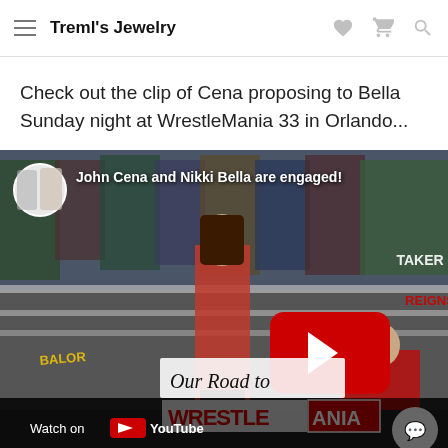Treml's Jewelry
Check out the clip of Cena proposing to Bella Sunday night at WrestleMania 33 in Orlando...
[Figure (screenshot): YouTube video thumbnail showing John Cena proposing to Nikki Bella at WrestleMania 33. The video title reads 'John Cena and Nikki Bella are engaged!' with a red YouTube play button in the center. The bottom bar shows 'Our Road to WrestleMania' watermark and 'Watch on YouTube' text.]